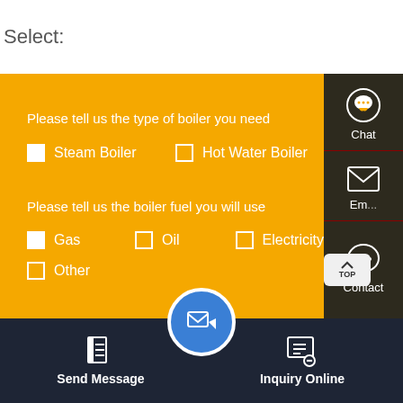Select:
Please tell us the type of boiler you need
Steam Boiler (checked)
Hot Water Boiler (unchecked)
Please tell us the boiler fuel you will use
Gas (checked)
Oil (unchecked)
Electricity (unchecked)
Other (unchecked)
[Figure (infographic): Dark sidebar with Chat, Email, and Contact icons]
Send Message
Inquiry Online